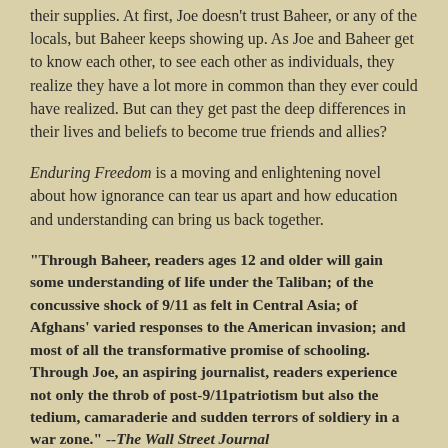their supplies. At first, Joe doesn't trust Baheer, or any of the locals, but Baheer keeps showing up. As Joe and Baheer get to know each other, to see each other as individuals, they realize they have a lot more in common than they ever could have realized. But can they get past the deep differences in their lives and beliefs to become true friends and allies?
Enduring Freedom is a moving and enlightening novel about how ignorance can tear us apart and how education and understanding can bring us back together.
"Through Baheer, readers ages 12 and older will gain some understanding of life under the Taliban; of the concussive shock of 9/11 as felt in Central Asia; of Afghans' varied responses to the American invasion; and most of all the transformative promise of schooling. Through Joe, an aspiring journalist, readers experience not only the throb of post-9/11patriotism but also the tedium, camaraderie and sudden terrors of soldiery in a war zone." --The Wall Street Journal